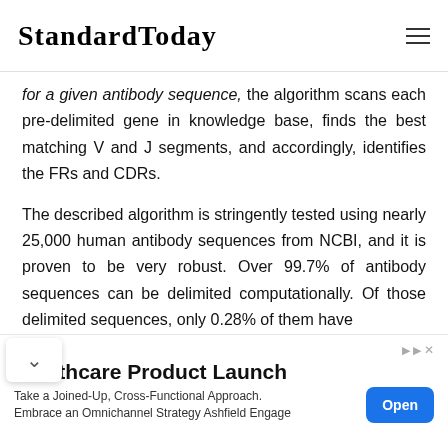StandardToday
for a given antibody sequence, the algorithm scans each pre-delimited gene in knowledge base, finds the best matching V and J segments, and accordingly, identifies the FRs and CDRs.

The described algorithm is stringently tested using nearly 25,000 human antibody sequences from NCBI, and it is proven to be very robust. Over 99.7% of antibody sequences can be delimited computationally. Of those delimited sequences, only 0.28% of them have
Healthcare Product Launch
Take a Joined-Up, Cross-Functional Approach. Embrace an Omnichannel Strategy Ashfield Engage